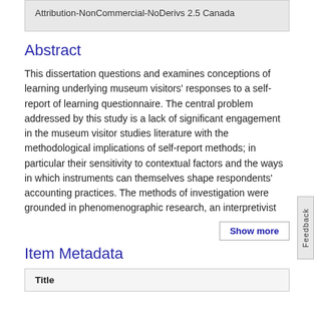Attribution-NonCommercial-NoDerivs 2.5 Canada
Abstract
This dissertation questions and examines conceptions of learning underlying museum visitors' responses to a self-report of learning questionnaire. The central problem addressed by this study is a lack of significant engagement in the museum visitor studies literature with the methodological implications of self-report methods; in particular their sensitivity to contextual factors and the ways in which instruments can themselves shape respondents' accounting practices. The methods of investigation were grounded in phenomenographic research, an interpretivist
Show more
Item Metadata
| Title |
| --- |